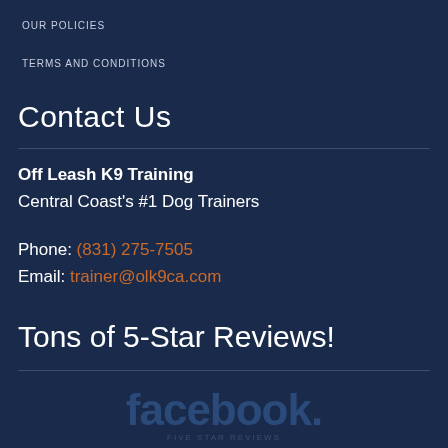OUR POLICIES
TERMS AND CONDITIONS
Contact Us
Off Leash K9 Training
Central Coast's #1 Dog Trainers
Phone: (831) 275-7505
Email: trainer@olk9ca.com
Tons of 5-Star Reviews!
facebook.
FIVE STAR REVIEWS